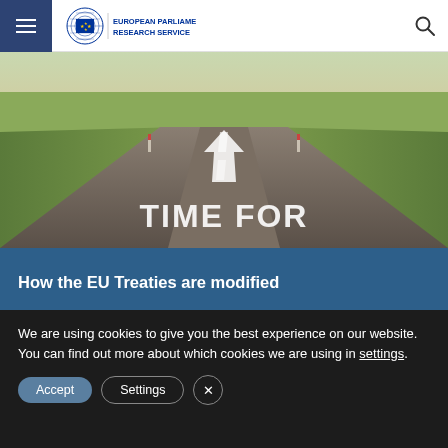European Parliamentary Research Service
[Figure (photo): Road stretching into the distance with a large white arrow pointing forward and 'TIME FOR' text painted on the road surface, with green fields on either side]
How the EU Treaties are modified
We are using cookies to give you the best experience on our website.
You can find out more about which cookies we are using in settings.
Accept | Settings | X